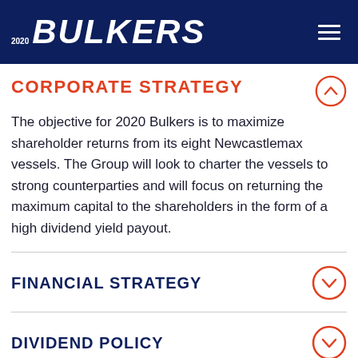2020 BULKERS
CORPORATE STRATEGY
The objective for 2020 Bulkers is to maximize shareholder returns from its eight Newcastlemax vessels. The Group will look to charter the vessels to strong counterparties and will focus on returning the maximum capital to the shareholders in the form of a high dividend yield payout.
FINANCIAL STRATEGY
DIVIDEND POLICY